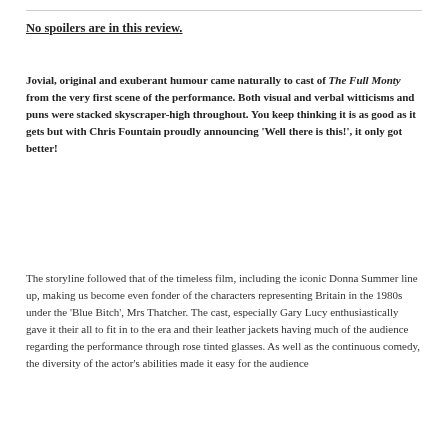No spoilers are in this review.
Jovial, original and exuberant humour came naturally to cast of The Full Monty from the very first scene of the performance. Both visual and verbal witticisms and puns were stacked skyscraper-high throughout. You keep thinking it is as good as it gets but with Chris Fountain proudly announcing 'Well there is this!', it only got better!
The storyline followed that of the timeless film, including the iconic Donna Summer line up, making us become even fonder of the characters representing Britain in the 1980s under the 'Blue Bitch', Mrs Thatcher. The cast, especially Gary Lucy enthusiastically gave it their all to fit in to the era and their leather jackets having much of the audience regarding the performance through rose tinted glasses. As well as the continuous comedy, the diversity of the actor's abilities made it easy for the audience